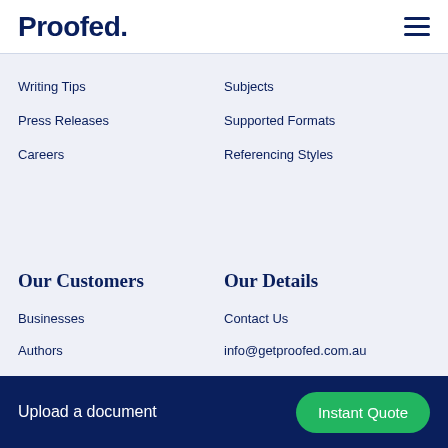Proofed.
Writing Tips
Subjects
Press Releases
Supported Formats
Careers
Referencing Styles
Our Customers
Our Details
Businesses
Contact Us
Authors
info@getproofed.com.au
Academics
+61 2 7202 6144
Upload a document  Instant Quote